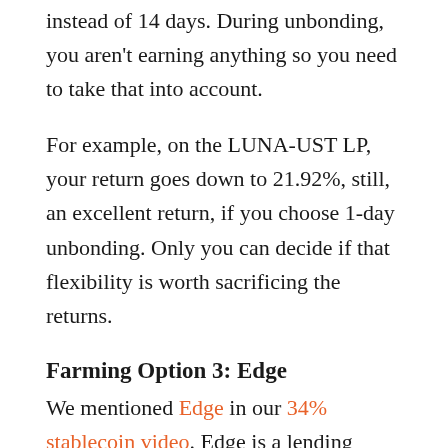instead of 14 days. During unbonding, you aren't earning anything so you need to take that into account.
For example, on the LUNA-UST LP, your return goes down to 21.92%, still, an excellent return, if you choose 1-day unbonding. Only you can decide if that flexibility is worth sacrificing the returns.
Farming Option 3: Edge
We mentioned Edge in our 34% stablecoin video. Edge is a lending protocol so you can supply LUNA to earn interest in a single-sided staking environment. If you do, then you can earn 1.88% on Edge with no risk of impermanent loss. Not much.